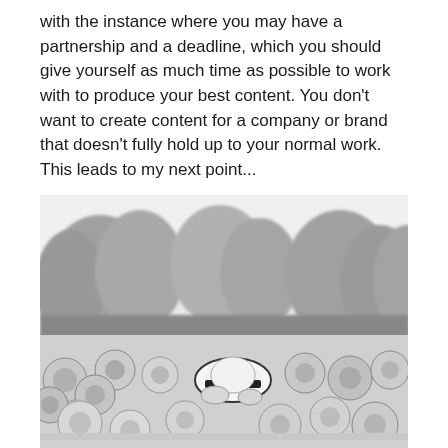with the instance where you may have a partnership and a deadline, which you should give yourself as much time as possible to work with to produce your best content. You don't want to create content for a company or brand that doesn't fully hold up to your normal work. This leads to my next point...
[Figure (photo): Black and white photograph of a person holding a wide-brimmed hat among a field of sunflowers, with tall trees visible in the background against a light sky.]